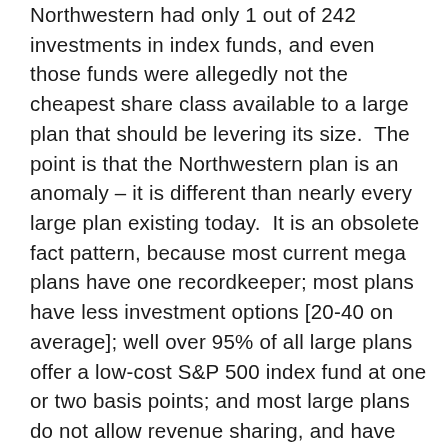Northwestern had only 1 out of 242 investments in index funds, and even those funds were allegedly not the cheapest share class available to a large plan that should be levering its size. The point is that the Northwestern plan is an anomaly – it is different than nearly every large plan existing today. It is an obsolete fact pattern, because most current mega plans have one recordkeeper; most plans have less investment options [20-40 on average]; well over 95% of all large plans offer a low-cost S&P 500 index fund at one or two basis points; and most large plans do not allow revenue sharing, and have low, per-participant recordkeeping fees. In a normal plan that offers one or more higher-cost active funds, whether those active investment choices are imprudent can only be judged in the context of the entire lineup which includes low-cost investments. But this defense is now likely lost to plan sponsors at the pleading stage.